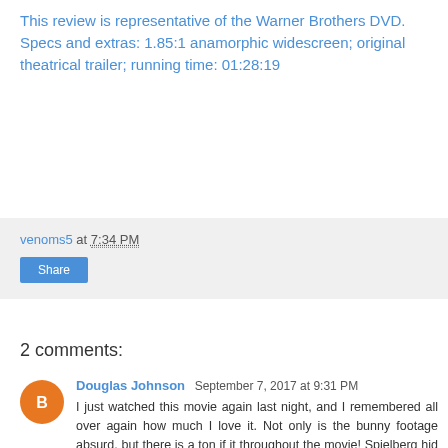This review is representative of the Warner Brothers DVD. Specs and extras: 1.85:1 anamorphic widescreen; original theatrical trailer; running time: 01:28:19
venoms5 at 7:34 PM
Share
2 comments:
Douglas Johnson September 7, 2017 at 9:31 PM
I just watched this movie again last night, and I remembered all over again how much I love it. Not only is the bunny footage absurd, but there is a ton if it throughout the movie! Spielberg hid the shark when he realized how poorly it was working in JAWS, Claxton doubles-down.